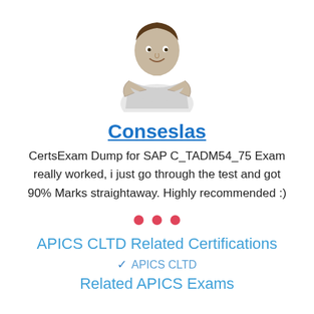[Figure (photo): Photo of a man with arms crossed, smiling, wearing a light grey polo shirt]
Conseslas
CertsExam Dump for SAP C_TADM54_75 Exam really worked, i just go through the test and got 90% Marks straightaway. Highly recommended :)
[Figure (other): Three red/pink dots separator]
APICS CLTD Related Certifications
APICS CLTD
Related APICS Exams